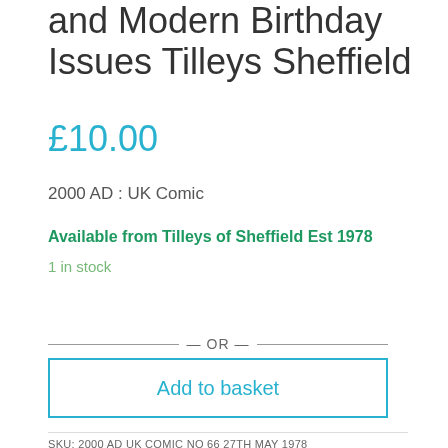and Modern Birthday Issues Tilleys Sheffield
£10.00
2000 AD : UK Comic
Available from Tilleys of Sheffield Est 1978
1 in stock
— OR —
Add to basket
SKU: 2000 AD UK COMIC NO 66 27TH MAY 1978